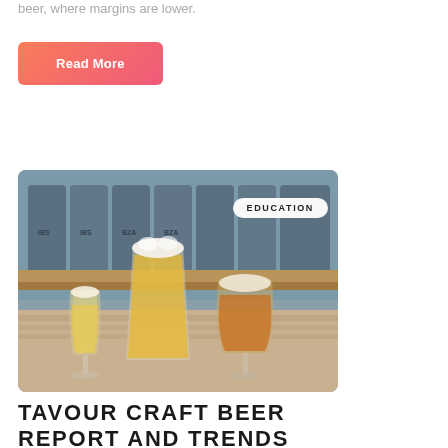beer, where margins are lower.
Read More
[Figure (photo): Three glasses of craft beer on a wooden surface in front of stacked kegs and crates in a brewery warehouse. An 'EDUCATION' badge/label is overlaid in the upper right of the image.]
EDUCATION
TAVOUR CRAFT BEER REPORT AND TRENDS